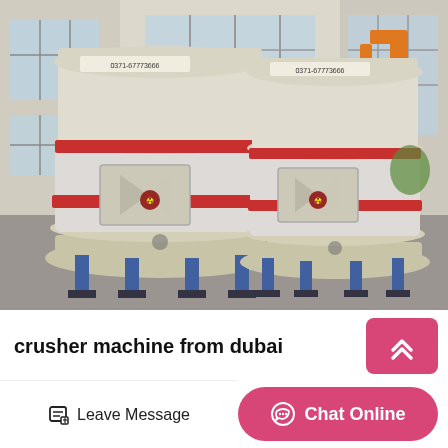[Figure (photo): Two large cream/beige colored industrial crusher machines (Raymond mill type) with red ring accents and manufacturer label '0371-67773666', standing on blue metal legs inside an industrial warehouse. An orange crane is visible in the background right. The machines have rotary/centrifugal air classifier bodies with access doors.]
crusher machine from dubai
Stone Crush Machines Dubai
Leave Message
Chat Online